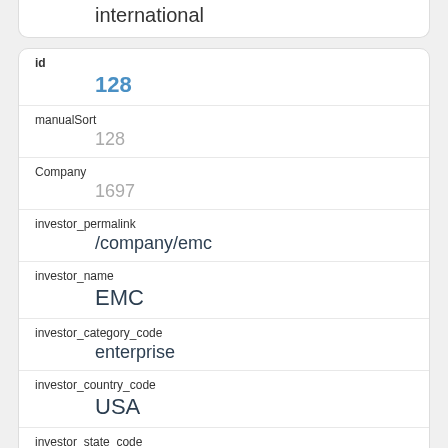international
| field | value |
| --- | --- |
| id | 128 |
| manualSort | 128 |
| Company | 1697 |
| investor_permalink | /company/emc |
| investor_name | EMC |
| investor_category_code | enterprise |
| investor_country_code | USA |
| investor_state_code | MA |
| investor_region | Boston |